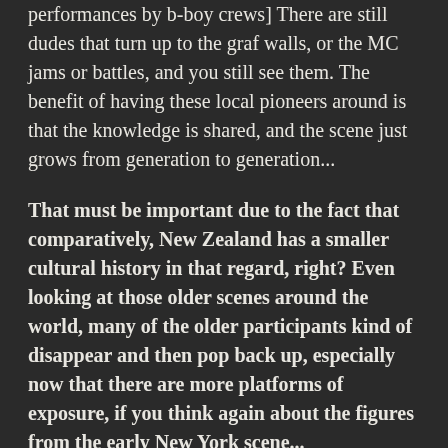performances by b-boy crews] There are still dudes that turn up to the graf walls, or the MC jams or battles, and you still see them. The benefit of having these local pioneers around is that the knowledge is shared, and the scene just grows from generation to generation...
That must be important due to the fact that comparatively, New Zealand has a smaller cultural history in that regard, right? Even looking at those older scenes around the world, many of the older participants kind of disappear and then pop back up, especially now that there are more platforms of exposure, if you think again about the figures from the early New York scene...